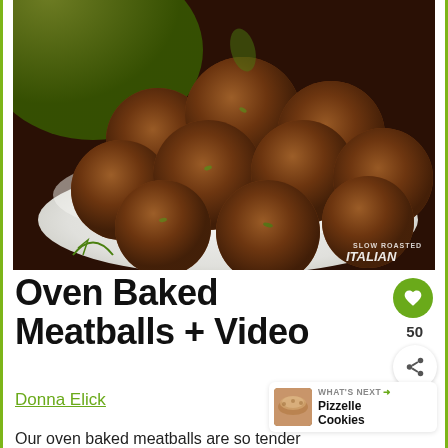[Figure (photo): A plate piled high with oven baked meatballs garnished with fresh herbs, with a green bowl visible in the background. Watermark reads 'SLOW ROASTED ITALIAN' in the bottom right corner.]
Oven Baked Meatballs + Video
Donna Elick
WHAT'S NEXT → Pizzelle Cookies
Our oven baked meatballs are so tender